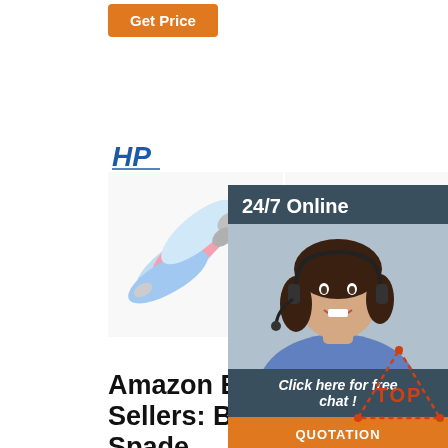[Figure (other): Orange 'Get Price' button]
[Figure (logo): HP logo in blue]
[Figure (photo): Colorful spade/ring terminal connectors scattered]
[Figure (photo): Yellow, blue, and pink tube-style connectors bundled]
[Figure (photo): White connector product partially visible]
[Figure (infographic): 24/7 Online customer service panel with woman in headset, Click here for free chat text, and QUOTATION orange button]
Amazon Best Sellers: Best Spade Terminals
Terrans 375 Pcs 15 in 1 Non-Insulated Ring Fork U-Type
Spade Connectors
Quick-disconnect terminals provide fast and secure connections for your wiring. Because they are easy to connect and disconnect, these terminals
Wat… Solc… Wire Con… (High Quality)
SolderStick™ offers an innovative wiring solution that
[Figure (logo): TOP badge - orange triangle with dots and TOP text]